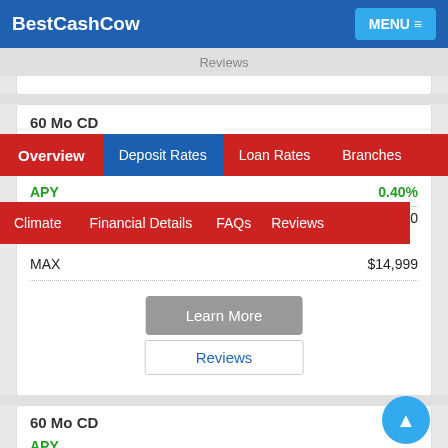BestCashCow  MENU
Overview  Deposit Rates  Loan Rates  Branches
Climate  Financial Details  FAQs  Reviews
60 Mo CD
| APY | 0.40% |
| --- | --- |
| MIN | $10,000 |
| MAX | $14,999 |
Learn More
Reviews
60 Mo CD
| APY |  |
| --- | --- |
| MIN | $100,000 |